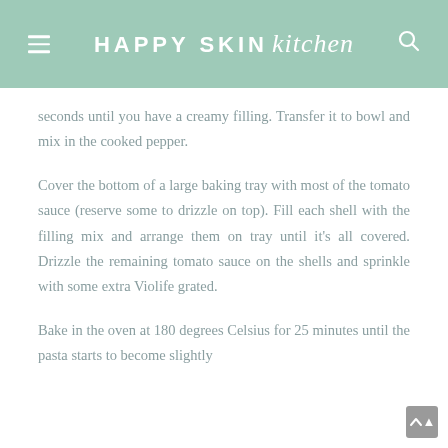HAPPY SKIN kitchen
seconds until you have a creamy filling. Transfer it to bowl and mix in the cooked pepper.
Cover the bottom of a large baking tray with most of the tomato sauce (reserve some to drizzle on top). Fill each shell with the filling mix and arrange them on tray until it's all covered. Drizzle the remaining tomato sauce on the shells and sprinkle with some extra Violife grated.
Bake in the oven at 180 degrees Celsius for 25 minutes until the pasta starts to become slightly